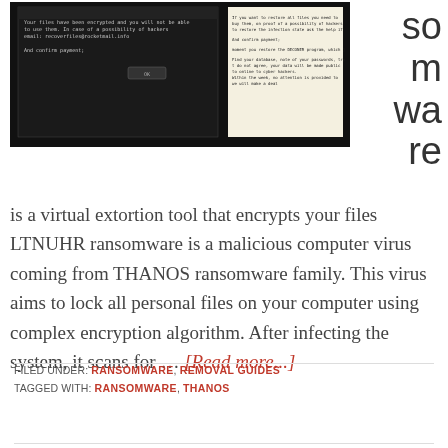[Figure (screenshot): Screenshot of ransomware notification window on a dark background, alongside a text panel with ransom note instructions.]
somware
is a virtual extortion tool that encrypts your files LTNUHR ransomware is a malicious computer virus coming from THANOS ransomware family. This virus aims to lock all personal files on your computer using complex encryption algorithm. After infecting the system, it scans for … [Read more...]
FILED UNDER: RANSOMWARE, REMOVAL GUIDES
TAGGED WITH: RANSOMWARE, THANOS